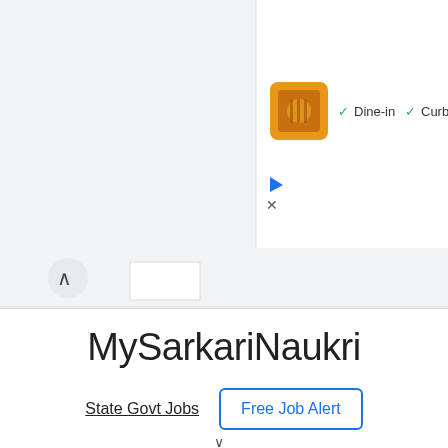[Figure (screenshot): Advertisement banner showing a restaurant listing with orange icon, dine-in and curbside pickup checkmarks, and ad control icons on a light gray background]
[Figure (screenshot): Browser tab/chrome UI element showing a tab pill and back chevron arrow button on gray background]
MySarkariNaukri
State Govt Jobs   Free Job Alert